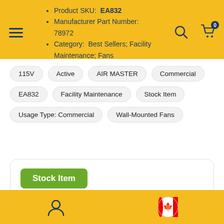Product SKU: EA832 | Manufacturer Part Number: 78972 | Category: Best Sellers; Facility Maintenance; Fans
115V
Active
AIR MASTER
Commercial
EA832
Facility Maintenance
Stock Item
Usage Type: Commercial
Wall-Mounted Fans
Stock Item
STOCK ITEM: This means item is usually in stock. If it happens to be out of stock, it wil arrive shortly and shipped with a short delay.
SPECIAL ORDER: This means this item is currently not
User icon | Canada flag